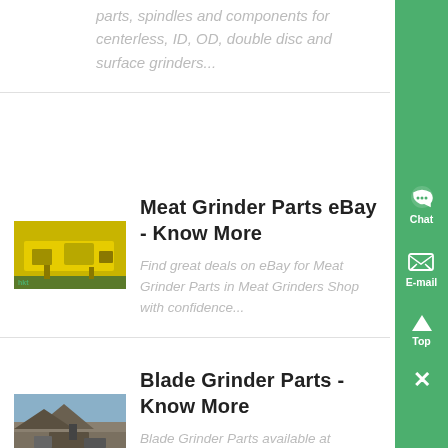parts, spindles and components for centerless, ID, OD, double disc and surface grinders...
[Figure (photo): Yellow industrial grinding/crushing machine with a person standing nearby]
Meat Grinder Parts eBay - Know More
Find great deals on eBay for Meat Grinder Parts in Meat Grinders Shop with confidence...
[Figure (photo): Quarry or mining site with large machinery and rocky terrain]
Blade Grinder Parts - Know More
Blade Grinder Parts available at OregonPartsStore great prices, and fast shipping to you...